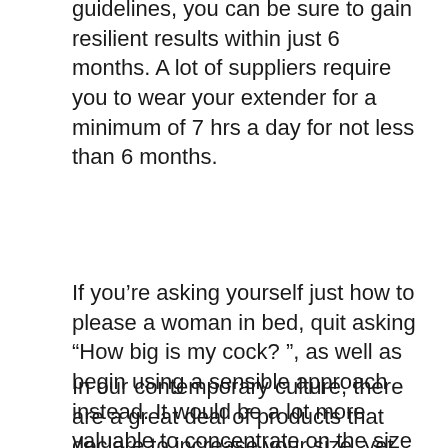guidelines, you can be sure to gain resilient results within just 6 months. A lot of suppliers require you to wear your extender for a minimum of 7 hrs a day for not less than 6 months.
If you’re asking yourself just how to please a woman in bed, quit asking “How big is my cock? ”, as well as begin using a sensible approach instead. It would be a lot more valuable to concentrate on the size of your pricks and how you can boost its dimension. You can find out more on this at:
In our contemporary culture, there are a great deal of products that declare to increase your size, yet penis pills are a different breed. Unlike other items that